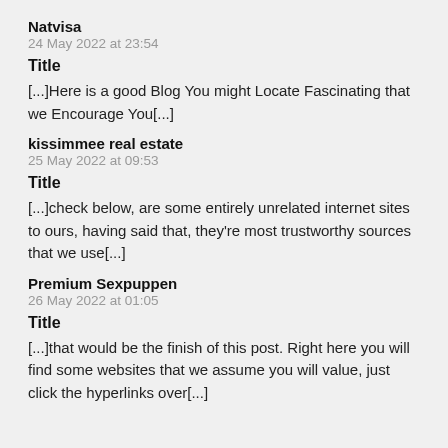Natvisa
24 May 2022 at 23:54
Title
[...]Here is a good Blog You might Locate Fascinating that we Encourage You[...]
kissimmee real estate
25 May 2022 at 09:53
Title
[...]check below, are some entirely unrelated internet sites to ours, having said that, they're most trustworthy sources that we use[...]
Premium Sexpuppen
26 May 2022 at 01:05
Title
[...]that would be the finish of this post. Right here you will find some websites that we assume you will value, just click the hyperlinks over[...]